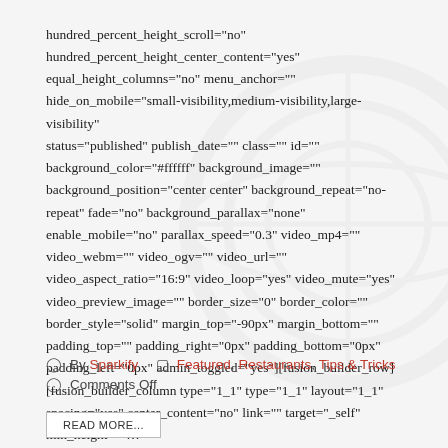hundred_percent_height_scroll="no" hundred_percent_height_center_content="yes" equal_height_columns="no" menu_anchor="" hide_on_mobile="small-visibility,medium-visibility,large-visibility" status="published" publish_date="" class="" id="" background_color="#ffffff" background_image="" background_position="center center" background_repeat="no-repeat" fade="no" background_parallax="none" enable_mobile="no" parallax_speed="0.3" video_mp4="" video_webm="" video_ogv="" video_url="" video_aspect_ratio="16:9" video_loop="yes" video_mute="yes" video_preview_image="" border_size="0" border_color="" border_style="solid" margin_top="-90px" margin_bottom="" padding_top="" padding_right="0px" padding_bottom="0px" padding_left="0px" admin_toggled="yes"][fusion_builder_row] [fusion_builder_column type="1_1" type="1_1" layout="1_1" spacing="yes" center_content="no" link="" target="_self" min_height=""...
By Sparkify  Featured, Restaurants, Tips & Tricks
Comments Off
READ MORE...